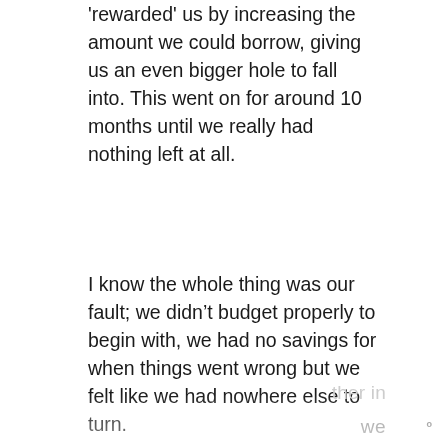'rewarded' us by increasing the amount we could borrow, giving us an even bigger hole to fall into. This went on for around 10 months until we really had nothing left at all.
I know the whole thing was our fault; we didn't budget properly to begin with, we had no savings for when things went wrong but we felt like we had nowhere else to turn.
We haven't been in a position where we felt the need (or pressure) to take out a payday loan for over two years. We manage our finances and plan for unexpected costs. Sadly, this isn't the case for millions of the people…